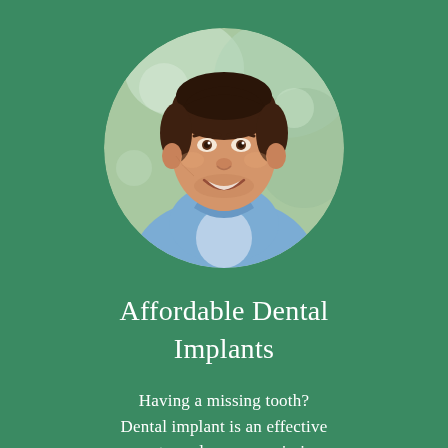[Figure (photo): Circular portrait photo of a smiling young man with brown hair, wearing a light blue shirt, photographed outdoors with a blurred green background.]
Affordable Dental Implants
Having a missing tooth? Dental implant is an effective way to replace your missing